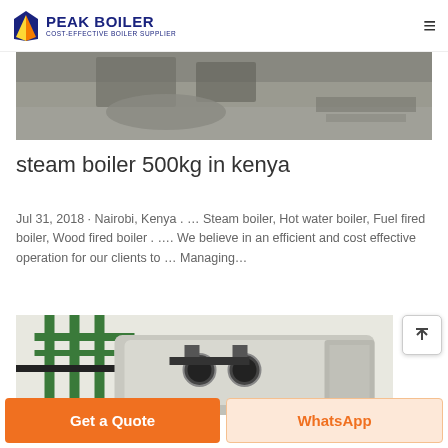PEAK BOILER — COST-EFFECTIVE BOILER SUPPLIER
[Figure (photo): Overhead view of industrial boiler installation area showing piping and concrete floor]
steam boiler 500kg in kenya
Jul 31, 2018 · Nairobi, Kenya . … Steam boiler, Hot water boiler, Fuel fired boiler, Wood fired boiler . …. We believe in an efficient and cost effective operation for our clients to … Managing…
[Figure (photo): Industrial steam boiler unit with green piping and gauges mounted on front, inside a facility]
Get a Quote
WhatsApp